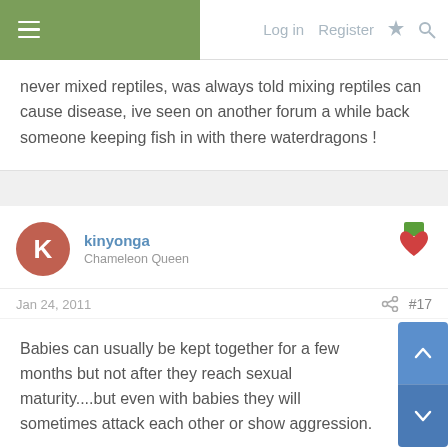Log in  Register
never mixed reptiles, was always told mixing reptiles can cause disease, ive seen on another forum a while back someone keeping fish in with there waterdragons !
kinyonga
Chameleon Queen
Jan 24, 2011
#17
Babies can usually be kept together for a few months but not after they reach sexual maturity....but even with babies they will sometimes attack each other or show aggression.